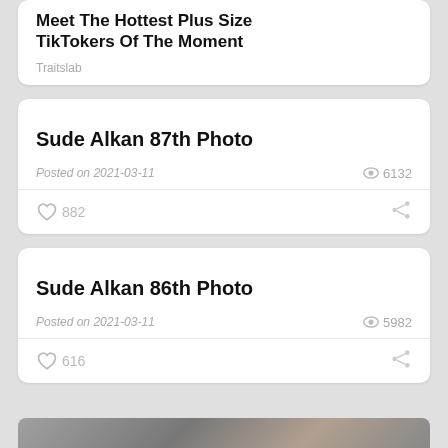Meet The Hottest Plus Size TikTokers Of The Moment
Traitslab
Sude Alkan 87th Photo
Posted on 2021-03-11   👁 6132
♡ 882   share
Sude Alkan 86th Photo
Posted on 2021-03-11   👁 5982
♡ 616   share
[Figure (photo): Partial photo strip at bottom of page]